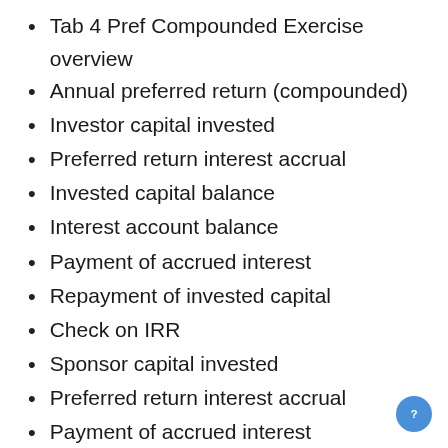Tab 4 Pref Compounded Exercise overview
Annual preferred return (compounded)
Investor capital invested
Preferred return interest accrual
Invested capital balance
Interest account balance
Payment of accrued interest
Repayment of invested capital
Check on IRR
Sponsor capital invested
Preferred return interest accrual
Payment of accrued interest
Repayment of invested capital
Invested capital balance
Interest account balance